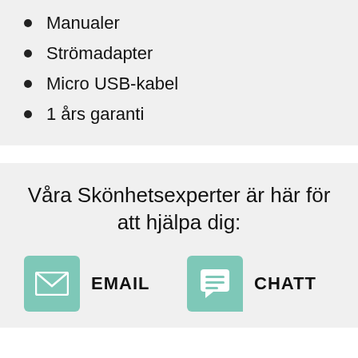Manualer
Strömadapter
Micro USB-kabel
1 års garanti
Våra Skönhetsexperter är här för att hjälpa dig:
EMAIL
CHATT